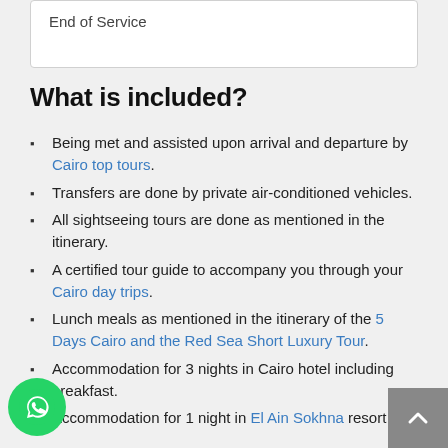End of Service
What is included?
Being met and assisted upon arrival and departure by Cairo top tours.
Transfers are done by private air-conditioned vehicles.
All sightseeing tours are done as mentioned in the itinerary.
A certified tour guide to accompany you through your Cairo day trips.
Lunch meals as mentioned in the itinerary of the 5 Days Cairo and the Red Sea Short Luxury Tour.
Accommodation for 3 nights in Cairo hotel including breakfast.
Accommodation for 1 night in El Ain Sokhna resort